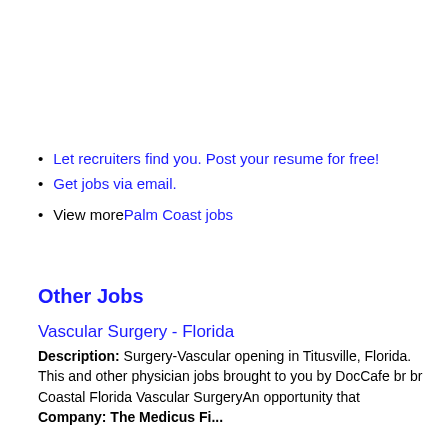Let recruiters find you. Post your resume for free!
Get jobs via email.
View more Palm Coast jobs
Other Jobs
Vascular Surgery - Florida
Description: Surgery-Vascular opening in Titusville, Florida. This and other physician jobs brought to you by DocCafe br br Coastal Florida Vascular SurgeryAn opportunity that
Company: The Medicus Firm